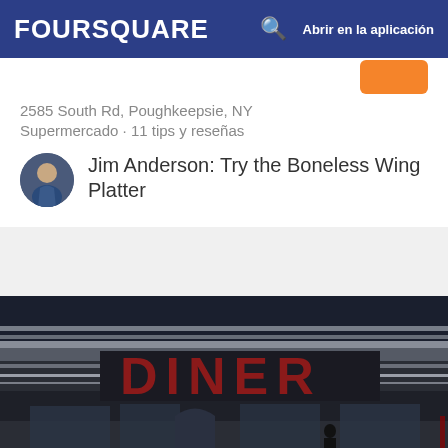FOURSQUARE  Abrir en la aplicación
2585 South Rd, Poughkeepsie, NY
Supermercado · 11 tips y reseñas
Jim Anderson: Try the Boneless Wing Platter
[Figure (photo): Exterior photo of Palace Diner at night, showing chrome diner facade with large DINER sign in red letters, outdoor seating with black iron railings]
29. Palace Diner
194 Washington St, Poughkeepsie, NY
Cafetería · 40 tips y reseñas